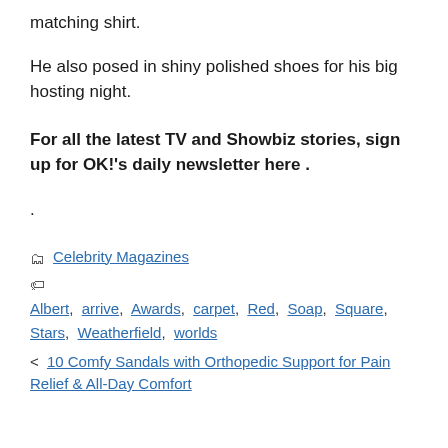matching shirt.
He also posed in shiny polished shoes for his big hosting night.
For all the latest TV and Showbiz stories, sign up for OK!'s daily newsletter here .
.
Celebrity Magazines
Albert, arrive, Awards, carpet, Red, Soap, Square, Stars, Weatherfield, worlds
< 10 Comfy Sandals with Orthopedic Support for Pain Relief & All-Day Comfort